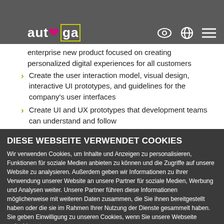[Figure (screenshot): Navigation bar with autega logo and icons]
enterprise new product focused on creating personalized digital experiences for all customers
Create the user interaction model, visual design, interactive UI prototypes, and guidelines for the company's user interfaces
Create UI and UX prototypes that development teams can understand and follow
Continue to develop internal UI guidelines, collaborate with other designers on the team, and ensure that end users experience an optimal user experience
Collaborate with product designers, product managers, and developers to drive the product from concept to launch
Develop product requirements and concepts in the form of
DIESE WEBSEITE VERWENDET COOKIES
Wir verwenden Cookies, um Inhalte und Anzeigen zu personalisieren, Funktionen für soziale Medien anbieten zu können und die Zugriffe auf unsere Website zu analysieren. Außerdem geben wir Informationen zu Ihrer Verwendung unserer Website an unsere Partner für soziale Medien, Werbung und Analysen weiter. Unsere Partner führen diese Informationen möglicherweise mit weiteren Daten zusammen, die Sie ihnen bereitgestellt haben oder die sie im Rahmen Ihrer Nutzung der Dienste gesammelt haben. Sie geben Einwilligung zu unseren Cookies, wenn Sie unsere Webseite weiterhin nutzen.